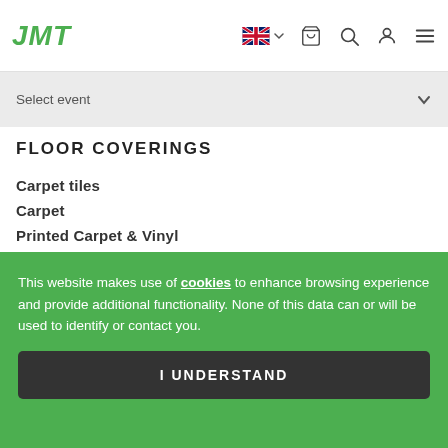JMT — navigation header with logo, UK flag, cart, search, user, menu icons
Select event
FLOOR COVERINGS
Carpet tiles
Carpet
Printed Carpet & Vinyl
Needle Felt Carpet
Laminate
This website makes use of cookies to enhance browsing experience and provide additional functionality. None of this data can or will be used to identify or contact you.
I UNDERSTAND